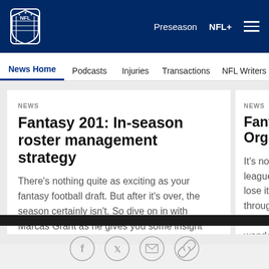[Figure (logo): NFL shield logo in white on dark blue header]
Preseason   NFL+   ≡
News Home   Podcasts   Injuries   Transactions   NFL Writers   Se
NEWS
Fantasy 201: In-season roster management strategy
There's nothing quite as exciting as your fantasy football draft. But after it's over, the season certainly isn't. So dive on in with Marcas Grant as he gives you some insight and tips on how to best manage your squad during the season.
NEWS
Fantasy 2... Organize
It's not likely t league throug lose it. So Ma through with to survive and wonderful day
[Figure (infographic): Social media share icons: Facebook, Twitter, Email, Link]